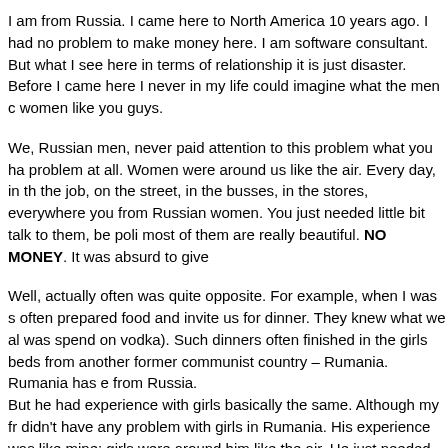I am from Russia. I came here to North America 10 years ago. I had no problem to make money here. I am software consultant. But what I see here in terms of relationship it is just disaster. Before I came here I never in my life could imagine what the men could do for women like you guys.
We, Russian men, never paid attention to this problem what you have. It was not a problem at all. Women were around us like the air. Every day, in the university, on the job, on the street, in the busses, in the stores, everywhere you could get attention from Russian women. You just needed little bit talk to them, be polite and smile and most of them are really beautiful. NO MONEY. It was absurd to give money...
Well, actually often was quite opposite. For example, when I was student, the girls often prepared food and invite us for dinner. They knew what we all need (all money was spend on vodka). Such dinners often finished in the girls beds... I have a friend from another former communist country – Rumania. Rumania has even less money from Russia.
But he had experience with girls basically the same. Although my friend didn't have any problem with girls in Rumania. His experience was basically the same like mine: girls were around him like the air. He just needed make m...
I also remember few times how girls fight between themselves to have attention of the male. And they were beautiful girls. They fight until blood.
Well here I sow something different. I sow how Canadian men stea... from their friend. For me it is just unbelievable. In Russia, I used to that such things introduce women to each other. But the man! I lost any respect to Canadian m... So what they are maybe American women have the same?